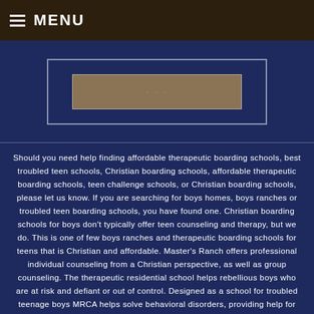MENU
[Figure (illustration): Partial image placeholder with a brownish/tan rectangular box inset within a bordered frame on a dark navy background]
Should you need help finding affordable therapeutic boarding schools, best troubled teen schools, Christian boarding schools, affordable therapeutic boarding schools, teen challenge schools, or Christian boarding schools, please let us know. If you are searching for boys homes, boys ranches or troubled teen boarding schools, you have found one. Christian boarding schools for boys don't typically offer teen counseling and therapy, but we do. This is one of few boys ranches and therapeutic boarding schools for teens that is Christian and affordable. Master's Ranch offers professional individual counseling from a Christian perspective, as well as group counseling. The therapeutic residential school helps rebellious boys who are at risk and defiant or out of control. Designed as a school for troubled teenage boys MRCA helps solve behavioral disorders, providing help for boys with ADHD, alternatives for boys with ODD – Oppositional Defiant Disorder, and a school for youth with Attention Deficit Disorder. We also help boys with